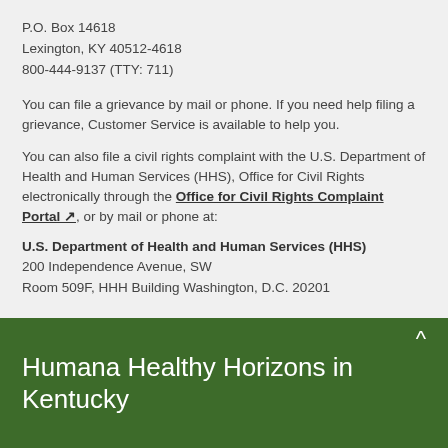P.O. Box 14618
Lexington, KY 40512-4618
800-444-9137 (TTY: 711)
You can file a grievance by mail or phone. If you need help filing a grievance, Customer Service is available to help you.
You can also file a civil rights complaint with the U.S. Department of Health and Human Services (HHS), Office for Civil Rights electronically through the Office for Civil Rights Complaint Portal, or by mail or phone at:
U.S. Department of Health and Human Services (HHS)
200 Independence Avenue, SW
Room 509F, HHH Building Washington, D.C. 20201
Humana Healthy Horizons in Kentucky